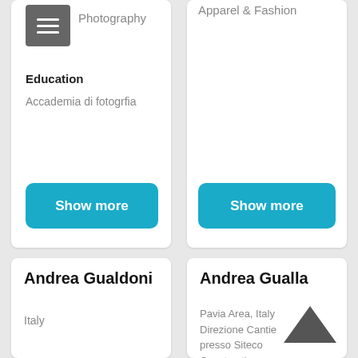Photography
Education
Accademia di fotogrfia
Apparel & Fashion
Show more
Show more
Andrea Gualdoni
Italy
Andrea Gualla
Pavia Area, Italy
Direzione Cantie
presso Siteco
Construction